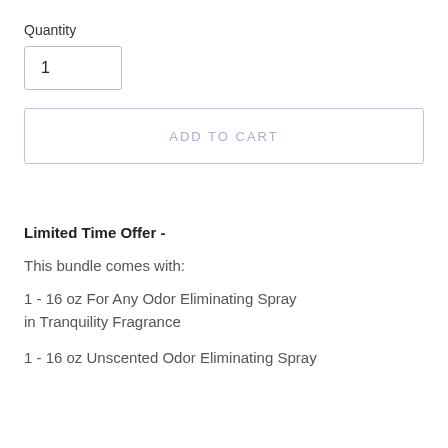Quantity
1
ADD TO CART
Limited Time Offer -
This bundle comes with:
1 - 16 oz For Any Odor Eliminating Spray in Tranquility Fragrance
1 - 16 oz Unscented Odor Eliminating Spray